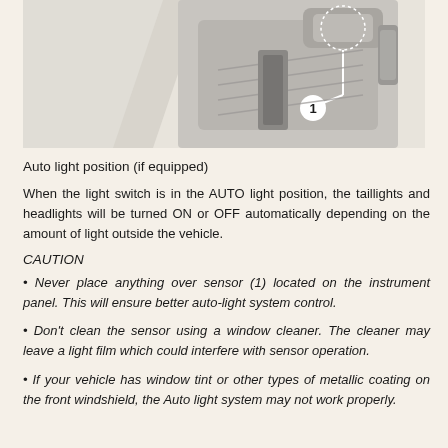[Figure (illustration): Photo of a car interior component, likely a headlight switch stalk or steering column control, with a sensor labeled with a circled number 1 indicated by a dotted circle. The component is shown in grey/silver tones against a light background.]
Auto light position (if equipped)
When the light switch is in the AUTO light position, the taillights and headlights will be turned ON or OFF automatically depending on the amount of light outside the vehicle.
CAUTION
• Never place anything over sensor (1) located on the instrument panel. This will ensure better auto-light system control.
• Don't clean the sensor using a window cleaner. The cleaner may leave a light film which could interfere with sensor operation.
• If your vehicle has window tint or other types of metallic coating on the front windshield, the Auto light system may not work properly.